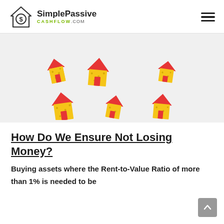[Figure (logo): SimplePassiveCashflow.com logo with house icon containing dollar sign]
[Figure (illustration): Six cartoon yellow houses with red roofs arranged in two rows of three, on a light grey background]
How Do We Ensure Not Losing Money?
Buying assets where the Rent-to-Value Ratio of more than 1% is needed to be